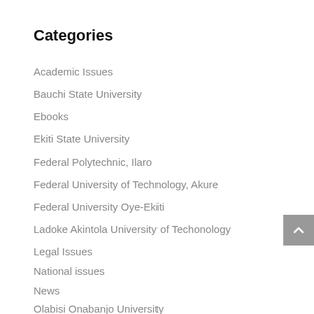Categories
Academic Issues
Bauchi State University
Ebooks
Ekiti State University
Federal Polytechnic, Ilaro
Federal University of Technology, Akure
Federal University Oye-Ekiti
Ladoke Akintola University of Techonology
Legal Issues
National issues
News
Olabisi Onabanjo University
Politics